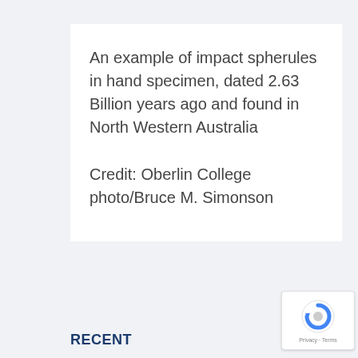An example of impact spherules in hand specimen, dated 2.63 Billion years ago and found in North Western Australia
Credit: Oberlin College photo/Bruce M. Simonson
RECENT